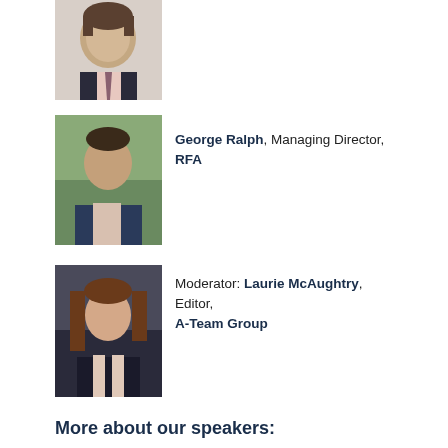[Figure (photo): Professional headshot of a middle-aged man in a dark suit and tie, cropped at top of page]
[Figure (photo): George Ralph, headshot of a man in a dark blazer outdoors with trees in background]
George Ralph, Managing Director, RFA
[Figure (photo): Laurie McAughtry, headshot of a woman with brown hair in a professional setting]
Moderator: Laurie McAughtry, Editor, A-Team Group
More about our speakers:
Eren Erman
Global Compliance Technology Lead – Trade & Business Communication Surveillance